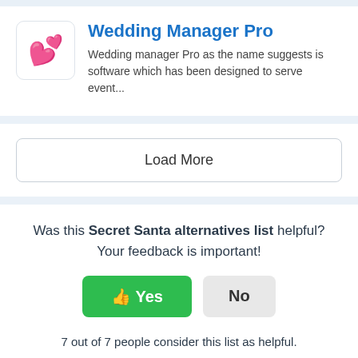[Figure (logo): Wedding Manager Pro app icon with two pink/red hearts emoji on white background with border]
Wedding Manager Pro
Wedding manager Pro as the name suggests is software which has been designed to serve event...
Load More
Was this Secret Santa alternatives list helpful? Your feedback is important!
👍 Yes
No
7 out of 7 people consider this list as helpful.
This is equivalent to 5.0 / 5 rating.